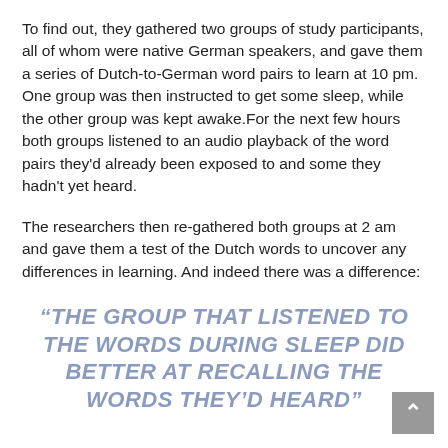To find out, they gathered two groups of study participants, all of whom were native German speakers, and gave them a series of Dutch-to-German word pairs to learn at 10 pm. One group was then instructed to get some sleep, while the other group was kept awake.For the next few hours both groups listened to an audio playback of the word pairs they'd already been exposed to and some they hadn't yet heard.
The researchers then re-gathered both groups at 2 am and gave them a test of the Dutch words to uncover any differences in learning. And indeed there was a difference:
“THE GROUP THAT LISTENED TO THE WORDS DURING SLEEP DID BETTER AT RECALLING THE WORDS THEY’D HEARD”